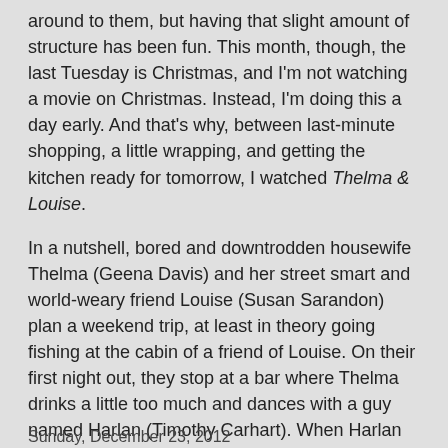around to them, but having that slight amount of structure has been fun. This month, though, the last Tuesday is Christmas, and I'm not watching a movie on Christmas. Instead, I'm doing this a day early. And that's why, between last-minute shopping, a little wrapping, and getting the kitchen ready for tomorrow, I watched Thelma & Louise.
In a nutshell, bored and downtrodden housewife Thelma (Geena Davis) and her street smart and world-weary friend Louise (Susan Sarandon) plan a weekend trip, at least in theory going fishing at the cabin of a friend of Louise. On their first night out, they stop at a bar where Thelma drinks a little too much and dances with a guy named Harlan (Timothy Carhart). When Harlan gets a little too frisky and tries to rape Thelma, Louise responds by shooting Harlan in the chest. The women flee, trying to figure out what to do.
SJHoneywell at 11:34 PM    4 comments:
Share
Sunday, December 23, 2012